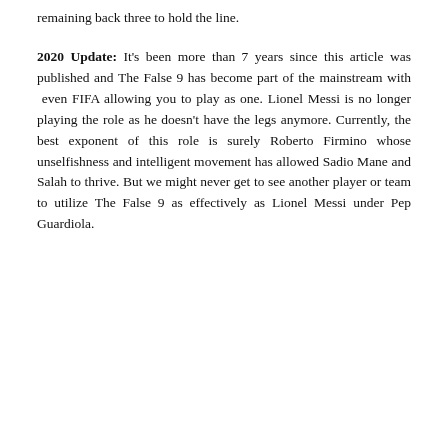remaining back three to hold the line.
2020 Update: It's been more than 7 years since this article was published and The False 9 has become part of the mainstream with even FIFA allowing you to play as one. Lionel Messi is no longer playing the role as he doesn't have the legs anymore. Currently, the best exponent of this role is surely Roberto Firmino whose unselfishness and intelligent movement has allowed Sadio Mane and Salah to thrive. But we might never get to see another player or team to utilize The False 9 as effectively as Lionel Messi under Pep Guardiola.